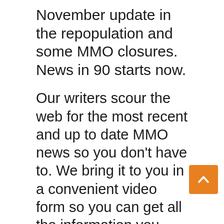November update in the repopulation and some MMO closures.  News in 90 starts now.
Our writers scour the web for the most recent and up to date MMO news so you don't have to. We bring it to you in a convenient video form so you can get all the information you crave about your favorite games in a short and sweet video format. MMO ATK brings you MMORPG news the way you want it!
Today on the Daily XP:
Heroes and Villains Releases New Details Regarding Upcoming Game | [timer]18[/timer]
The Repopulation Dishes the Details on November Updates | [timer]39[/timer]